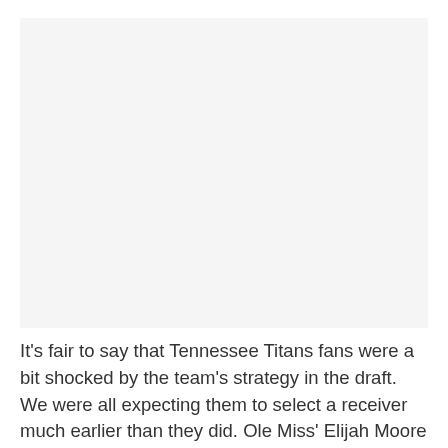[Figure (photo): Image placeholder area (photo content not visible)]
It’s fair to say that Tennessee Titans fans were a bit shocked by the team’s strategy in the draft. We were all expecting them to select a receiver much earlier than they did. Ole Miss’ Elijah Moore was the overwhelming favorite in the first round during the final tour of mock drafts. Moore was on the board, but the